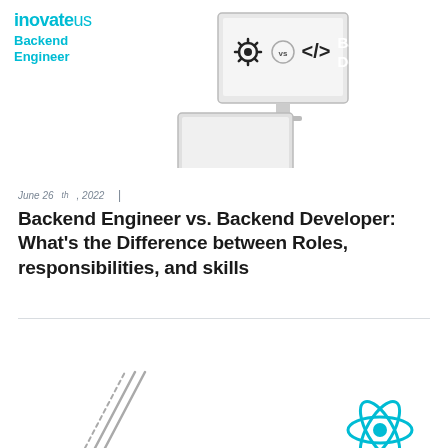[Figure (illustration): Website header banner for inovateus showing a laptop/monitor with gear icon, 'vs' circle, and code bracket icon, with teal background panel on right side showing 'Backend Developer' text, hamburger menu icon top right, and inovateus Backend Engineer logo/text on the left]
June 26th, 2022  |
Backend Engineer vs. Backend Developer: What's the Difference between Roles, responsibilities, and skills
[Figure (illustration): Bottom partial illustration showing a pencil/ruler graphic on the left and a teal React-style atomic logo on the right]